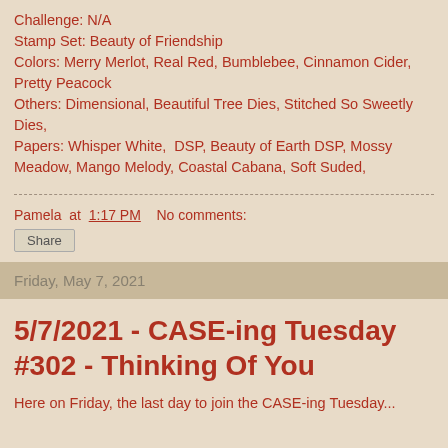Challenge: N/A
Stamp Set: Beauty of Friendship
Colors: Merry Merlot, Real Red, Bumblebee, Cinnamon Cider, Pretty Peacock
Others: Dimensional, Beautiful Tree Dies, Stitched So Sweetly Dies,
Papers: Whisper White,  DSP, Beauty of Earth DSP, Mossy Meadow, Mango Melody, Coastal Cabana, Soft Suded,
Pamela at 1:17 PM    No comments:
Share
Friday, May 7, 2021
5/7/2021 - CASE-ing Tuesday #302 - Thinking Of You
Here on Friday, the last day to join the CASE-ing Tuesday...